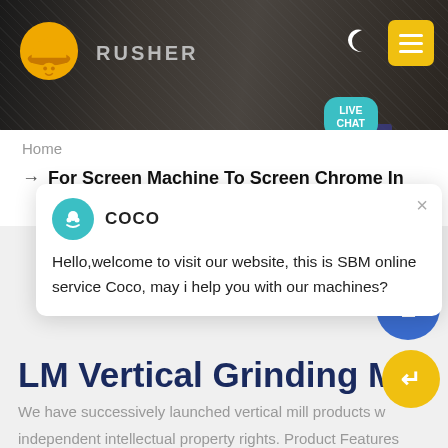[Figure (screenshot): Website header banner with dark background showing crusher machinery, company logo (hard hat icon), RUSHER text, moon icon, and yellow hamburger menu button]
Home
For Screen Machine To Screen Chrome In South Africa
[Figure (screenshot): Live chat popup with COCO avatar, close button, and message: Hello,welcome to visit our website, this is SBM online service Coco, may i help you with our machines?]
LM Vertical Grinding Mill
We have successively launched vertical mill products w independent intellectual property rights. Product Features Integration of multiple functions, more stable and reliable production and more excellent capacity